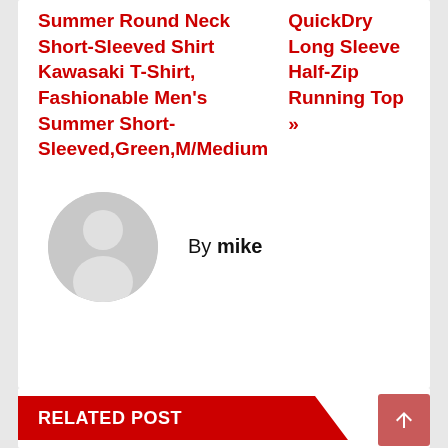Summer Round Neck Short-Sleeved Shirt Kawasaki T-Shirt, Fashionable Men's Summer Short-Sleeved,Green,M/Medium
QuickDry Long Sleeve Half-Zip Running Top »»
By mike
RELATED POST